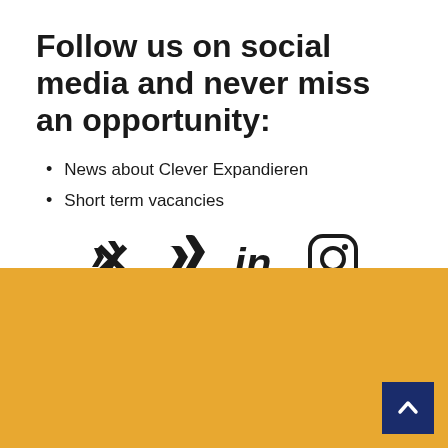Follow us on social media and never miss an opportunity:
News about Clever Expandieren
Short term vacancies
[Figure (illustration): Social media icons: Xing, LinkedIn, Instagram]
[Figure (illustration): Yellow background section with back-to-top button (dark blue square with upward chevron arrow)]